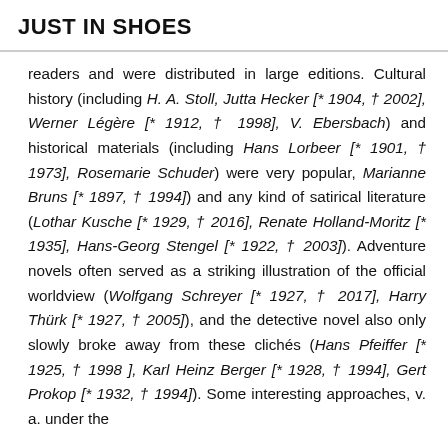JUST IN SHOES
readers and were distributed in large editions. Cultural history (including H. A. Stoll, Jutta Hecker [* 1904, † 2002], Werner Légère [* 1912, † 1998], V. Ebersbach) and historical materials (including Hans Lorbeer [* 1901, † 1973], Rosemarie Schuder) were very popular, Marianne Bruns [* 1897, † 1994]) and any kind of satirical literature (Lothar Kusche [* 1929, † 2016], Renate Holland-Moritz [* 1935], Hans-Georg Stengel [* 1922, † 2003]). Adventure novels often served as a striking illustration of the official worldview (Wolfgang Schreyer [* 1927, † 2017], Harry Thürk [* 1927, † 2005]), and the detective novel also only slowly broke away from these clichés (Hans Pfeiffer [* 1925, † 1998 ], Karl Heinz Berger [* 1928, † 1994], Gert Prokop [* 1932, † 1994]). Some interesting approaches, v. a. under the